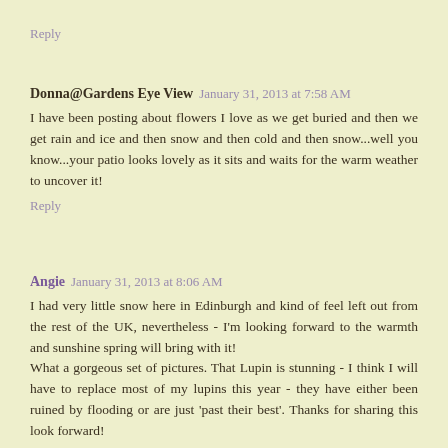Reply
Donna@Gardens Eye View  January 31, 2013 at 7:58 AM
I have been posting about flowers I love as we get buried and then we get rain and ice and then snow and then cold and then snow...well you know...your patio looks lovely as it sits and waits for the warm weather to uncover it!
Reply
Angie  January 31, 2013 at 8:06 AM
I had very little snow here in Edinburgh and kind of feel left out from the rest of the UK, nevertheless - I'm looking forward to the warmth and sunshine spring will bring with it! What a gorgeous set of pictures. That Lupin is stunning - I think I will have to replace most of my lupins this year - they have either been ruined by flooding or are just 'past their best'. Thanks for sharing this look forward!
Reply